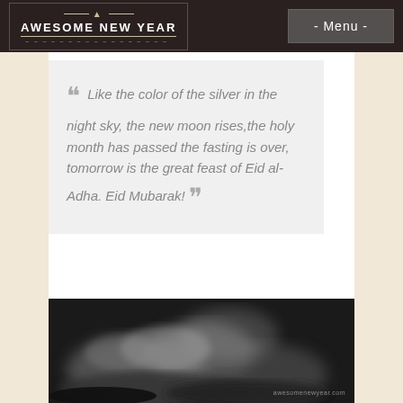AWESOME NEW YEAR | - Menu -
Like the color of the silver in the night sky, the new moon rises,the holy month has passed the fasting is over, tomorrow is the great feast of Eid al-Adha. Eid Mubarak!
[Figure (photo): Black and white close-up photograph of hands, blurred/bokeh style with watermark awesomenewyear.com]